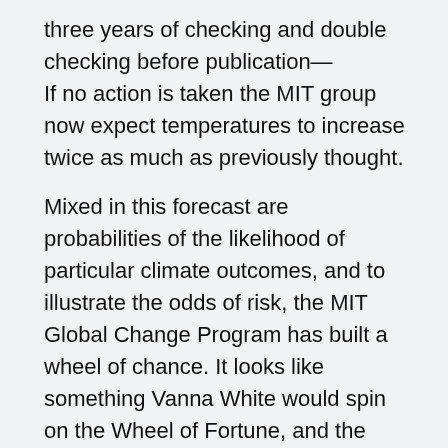three years of checking and double checking before publication— If no action is taken the MIT group now expect temperatures to increase twice as much as previously thought.
Mixed in this forecast are probabilities of the likelihood of particular climate outcomes, and to illustrate the odds of risk, the MIT Global Change Program has built a wheel of chance. It looks like something Vanna White would spin on the Wheel of Fortune, and the scientists call it the Greenhouse Gamble:
REILLY: When you spin it, if you get unlucky you get high temperatures, and if you get lucky you get low temperatures. And it really signifies what we as humanity are doing, we're spinning a wheel, by putting emissions